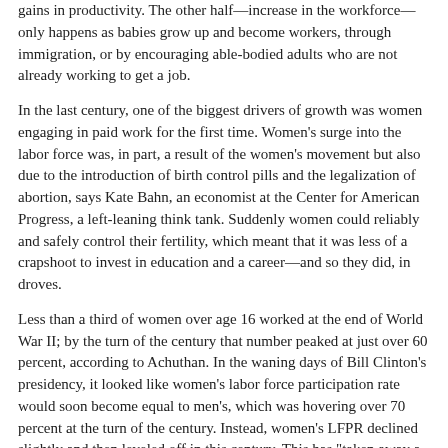gains in productivity. The other half—increase in the workforce—only happens as babies grow up and become workers, through immigration, or by encouraging able-bodied adults who are not already working to get a job.
In the last century, one of the biggest drivers of growth was women engaging in paid work for the first time. Women's surge into the labor force was, in part, a result of the women's movement but also due to the introduction of birth control pills and the legalization of abortion, says Kate Bahn, an economist at the Center for American Progress, a left-leaning think tank. Suddenly women could reliably and safely control their fertility, which meant that it was less of a crapshoot to invest in education and a career—and so they did, in droves.
Less than a third of women over age 16 worked at the end of World War II; by the turn of the century that number peaked at just over 60 percent, according to Achuthan. In the waning days of Bill Clinton's presidency, it looked like women's labor force participation rate would soon become equal to men's, which was hovering over 70 percent at the turn of the century. Instead, women's LFPR declined slightly and then leveled off in this century. This has "taken away a major pillar of labor force growth, which helps define the limits to job growth," Achuthan writes in a recent report on the subject, addressing Trump's economic goals. "Without a dramatic surge in immigration or the number of women joining the labor force—it will be virtually impossible for any president to add 25 million jobs in the next eight years."
Bahn hypothesizes that women's LFPR may have stopped growing over the last 15 years because, in the absence of national policies on childcare and family leave, women have reached the outer limits of their ability to multi-